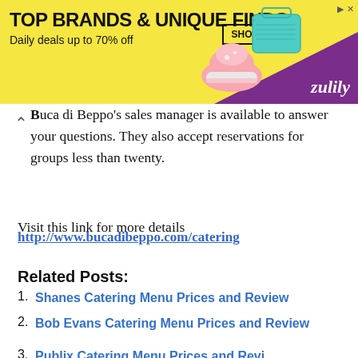[Figure (other): Advertisement banner for Zulily - yellow background with text 'TOP BRANDS & UNIQUE FINDS / Daily deals up to 70% off' and SHOP NOW button, with shoe and purse images and purple Zulily branding]
Buca di Beppo's sales manager is available to answer your questions. They also accept reservations for groups less than twenty.
Visit this link for more details
http://www.bucadibeppo.com/catering
Related Posts:
Shanes Catering Menu Prices and Review
Bob Evans Catering Menu Prices and Review
Publix Catering Menu Prices and Revi...